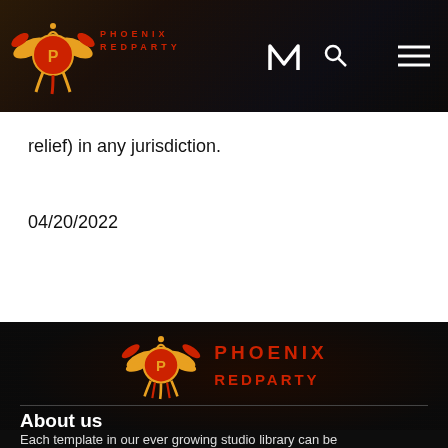[Figure (logo): Phoenix RedParty logo with phoenix bird emblem and navigation bar with search and menu icons on dark background]
relief) in any jurisdiction.
04/20/2022
[Figure (logo): Phoenix RedParty large footer logo with phoenix bird emblem in orange/red/gold colors and text PHOENIX RedParty]
About us
Each template in our ever growing studio library can be